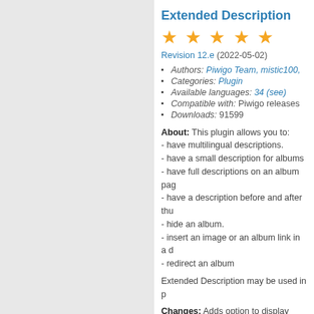Extended Description
[Figure (other): 5 filled gold stars rating]
Revision 12.e (2022-05-02)
Authors: Piwigo Team, mistic100,
Categories: Plugin
Available languages: 34 (see)
Compatible with: Piwigo releases
Downloads: 91599
About: This plugin allows you to:
- have multilingual descriptions.
- have a small description for albums
- have full descriptions on an album page
- have a description before and after thumbnails
- hide an album.
- insert an image or an album link in a description
- redirect an album
Extended Description may be used in p
Changes: Adds option to display multip
Social Buttons
[Figure (other): 3 filled gold stars, 2 empty stars rating]
Revision 1.3.3 (2022-02-09)